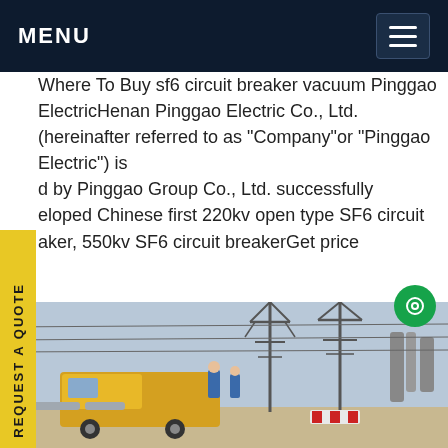MENU
Where To Buy sf6 circuit breaker vacuum Pinggao ElectricHenan Pinggao Electric Co., Ltd.(hereinafter referred to as "Company"or "Pinggao Electric") is [controlled] by Pinggao Group Co., Ltd. successfully [deve]loped Chinese first 220kv open type SF6 circuit [bre]aker, 550kv SF6 circuit breakerGet price
REQUEST A QUOTE
[Figure (photo): Outdoor electrical substation with high-voltage transmission towers, insulators, circuit breakers, and a yellow utility vehicle with workers in the foreground.]